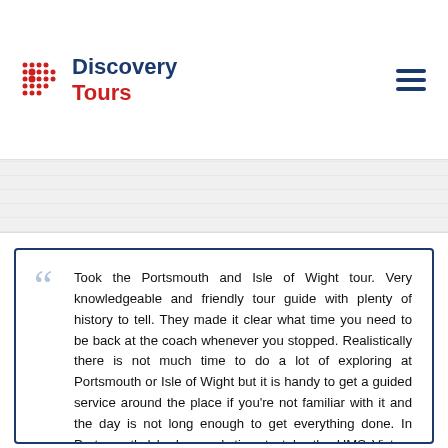[Figure (logo): Discovery Tours logo with red dot grid icon and blue/red text]
Took the Portsmouth and Isle of Wight tour. Very knowledgeable and friendly tour guide with plenty of history to tell. They made it clear what time you need to be back at the coach whenever you stopped. Realistically there is not much time to do a lot of exploring at Portsmouth or Isle of Wight but it is handy to get a guided service around the place if you're not familiar with it and the day is not long enough to get everything done. In Portsmouth I had enough time to take the HMS Victory tour (without audio, just walking through) and seeing one of the boat houses. Alternatively, I would have had enough time to visit some shops on the Gunwhwarf Quays or maybe a *quick* visit to the Spinnaker tower. In